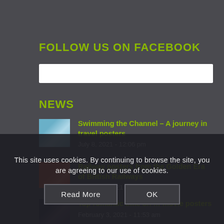FOLLOW US ON FACEBOOK
[Figure (other): White Facebook widget bar]
NEWS
Swimming the Channel – A journey in travel posters
July 8, 2021 - 12:06 pm
Railway posters from the Golden Era of British Railways
March 30, 2021 - 4:23 am
Top romantic time on ... movie posters
February 3, 2021 - 11:53 am
This site uses cookies. By continuing to browse the site, you are agreeing to our use of cookies.